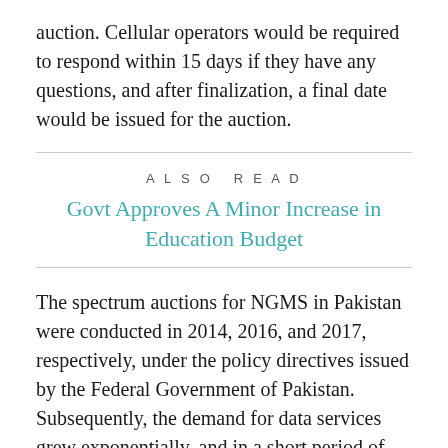auction. Cellular operators would be required to respond within 15 days if they have any questions, and after finalization, a final date would be issued for the auction.
ALSO READ
Govt Approves A Minor Increase in Education Budget
The spectrum auctions for NGMS in Pakistan were conducted in 2014, 2016, and 2017, respectively, under the policy directives issued by the Federal Government of Pakistan. Subsequently, the demand for data services grew exponentially, and in a short period of seven years, the broadband subscribers in the country